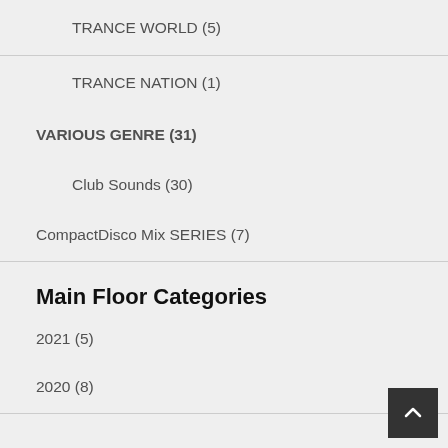TRANCE WORLD (5)
TRANCE NATION (1)
VARIOUS GENRE (31)
Club Sounds (30)
CompactDisco Mix SERIES (7)
Main Floor Categories
2021 (5)
2020 (8)
2019 (15)
2018 (13)